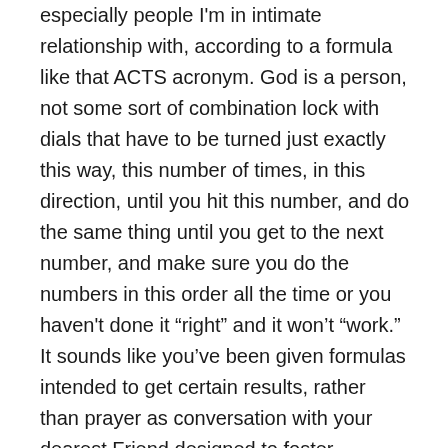especially people I'm in intimate relationship with, according to a formula like that ACTS acronym. God is a person, not some sort of combination lock with dials that have to be turned just exactly this way, this number of times, in this direction, until you hit this number, and do the same thing until you get to the next number, and make sure you do the numbers in this order all the time or you haven't done it “right” and it won’t “work.” It sounds like you’ve been given formulas intended to get certain results, rather than prayer as conversation with your dearest Friend designed to foster intimacy and relationship. No wonder it feels fake to you.
I would agree that prayer should come from the heart, but in that case it needs to be your prayer